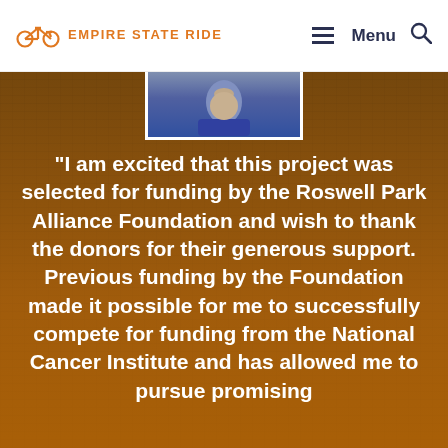EMPIRE STATE RIDE — Menu
[Figure (photo): Person photo with dark blue/navy clothing, partially shown, set against an orange-brown background overlay of a building (Roswell Park). A large white bold text quote is overlaid on the image.]
“I am excited that this project was selected for funding by the Roswell Park Alliance Foundation and wish to thank the donors for their generous support. Previous funding by the Foundation made it possible for me to successfully compete for funding from the National Cancer Institute and has allowed me to pursue promising